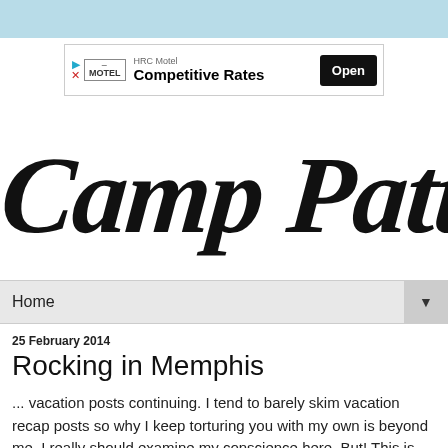[Figure (screenshot): Light blue top bar decorative banner]
[Figure (screenshot): HRC Motel advertisement banner with logo, text 'Competitive Rates' and 'Open' button]
[Figure (logo): Camp Patton handwritten/calligraphy style blog logo]
Home ▼
25 February 2014
Rocking in Memphis
... vacation posts continuing. I tend to barely skim vacation recap posts so why I keep torturing you with my own is beyond me. I really should examine my conscience here. But! This is the last one for a few minutes. I promise.
the drive down.